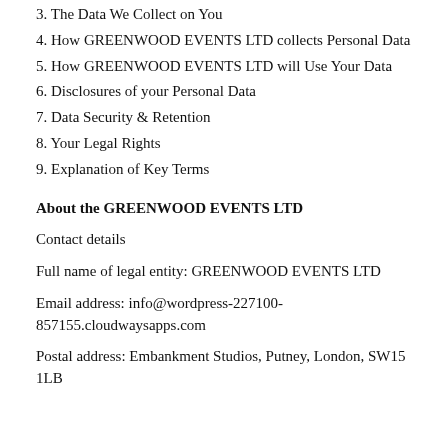3. The Data We Collect on You
4. How GREENWOOD EVENTS LTD collects Personal Data
5. How GREENWOOD EVENTS LTD will Use Your Data
6. Disclosures of your Personal Data
7. Data Security & Retention
8. Your Legal Rights
9. Explanation of Key Terms
About the GREENWOOD EVENTS LTD
Contact details
Full name of legal entity: GREENWOOD EVENTS LTD
Email address: info@wordpress-227100-857155.cloudwaysapps.com
Postal address: Embankment Studios, Putney, London, SW15 1LB